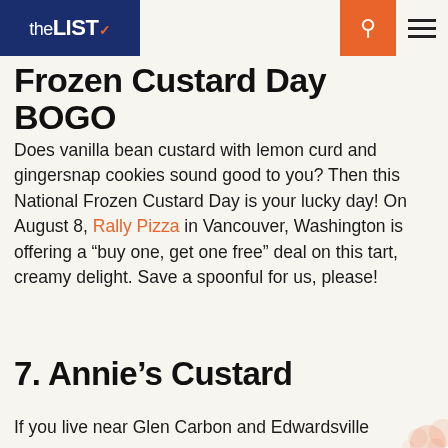theLIST
Frozen Custard Day BOGO
Does vanilla bean custard with lemon curd and gingersnap cookies sound good to you? Then this National Frozen Custard Day is your lucky day! On August 8, Rally Pizza in Vancouver, Washington is offering a “buy one, get one free” deal on this tart, creamy delight. Save a spoonful for us, please!
7. Annie’s Custard
If you live near Glen Carbon and Edwardsville